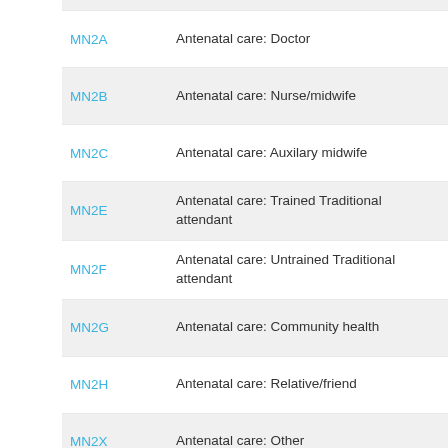MN2A - Antenatal care: Doctor
MN2B - Antenatal care: Nurse/midwife
MN2C - Antenatal care: Auxilary midwife
MN2E - Antenatal care: Trained Traditional attendant
MN2F - Antenatal care: Untrained Traditional attendant
MN2G - Antenatal care: Community health
MN2H - Antenatal care: Relative/friend
MN2X - Antenatal care: Other